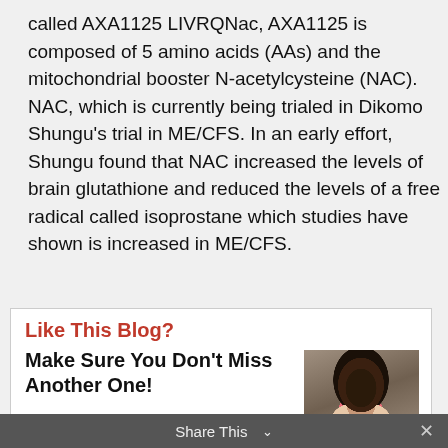called AXA1125 LIVRQNac, AXA1125 is composed of 5 amino acids (AAs) and the mitochondrial booster N-acetylcysteine (NAC). NAC, which is currently being trialed in Dikomo Shungu's trial in ME/CFS. In an early effort, Shungu found that NAC increased the levels of brain glutathione and reduced the levels of a free radical called isoprostane which studies have shown is increased in ME/CFS.
Like This Blog?
Make Sure You Don't Miss Another One!
Register for our free ME/CFS, fibromyalgia, and long COVID blogs here.
[Figure (photo): Photo of a woman with short curly hair wearing pink/red sunglasses and dark jacket]
Share This ∨  ×